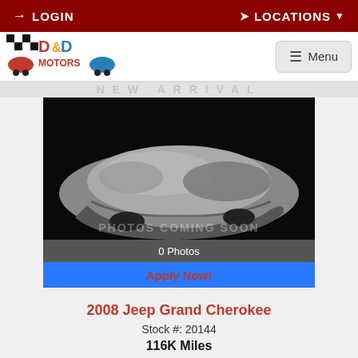LOGIN   LOCATIONS
[Figure (logo): D&D Motors logo with cartoon race car characters]
[Figure (photo): Car covered with silver cloth on dark background with 'PHOTOS COMING SOON' text overlay]
0 Photos
Apply Now!
2008 Jeep Grand Cherokee
Stock #: 20144
116K Miles